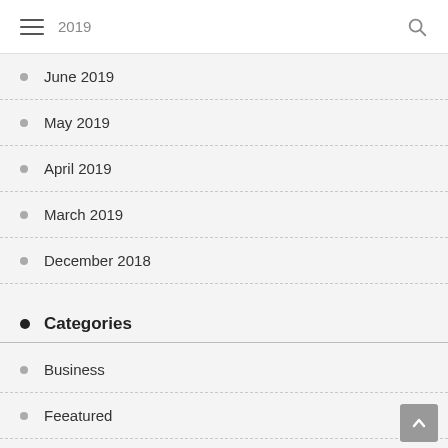2019
June 2019
May 2019
April 2019
March 2019
December 2018
Categories
Business
Feeatured
Finance
Industrial Farm Extractors